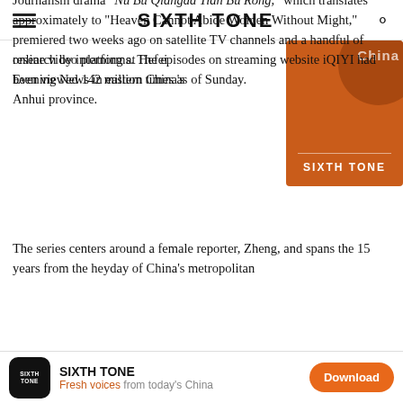SIXTH TONE
research by interning at Hefei Evening News in eastern China's Anhui province.
[Figure (logo): Sixth Tone orange advertisement banner with circular decoration and 'CHINA' text]
Journalism drama “Nu Bu Qiangda Tian Bu Rong,” which translates approximately to “Heaven Cannot Abide Women Without Might,” premiered two weeks ago on satellite TV channels and a handful of online video platforms. The episodes on streaming website iQIYI had been viewed 142 million times as of Sunday.
The series centers around a female reporter, Zheng, and spans the 15 years from the heyday of China’s metropolitan
[Figure (logo): Sixth Tone app download banner at bottom: logo, 'SIXTH TONE Fresh voices from today's China', Download button]